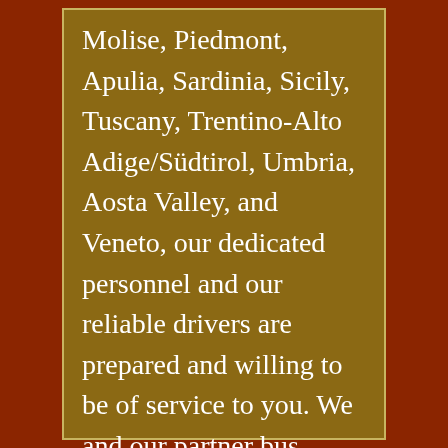Molise, Piedmont, Apulia, Sardinia, Sicily, Tuscany, Trentino-Alto Adige/Südtirol, Umbria, Aosta Valley, and Veneto, our dedicated personnel and our reliable drivers are prepared and willing to be of service to you. We and our partner bus companies invite you to call upon us by e-mail at info@europe-buses.com. You will receive our reply with a customized, crushingly